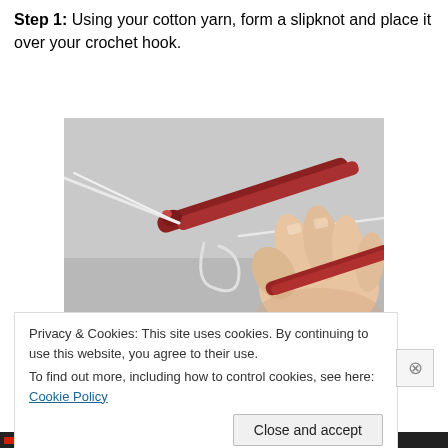Step 1: Using your cotton yarn, form a slipknot and place it over your crochet hook.
[Figure (photo): A red metallic crochet hook held in a hand with white yarn looped around the hook tip, showing a slipknot formation against a grey background.]
Privacy & Cookies: This site uses cookies. By continuing to use this website, you agree to their use.
To find out more, including how to control cookies, see here: Cookie Policy